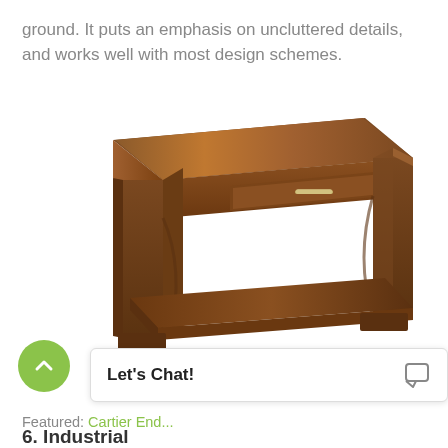ground. It puts an emphasis on uncluttered details, and works well with most design schemes.
[Figure (photo): A dark walnut wood end table with a single drawer featuring a metal bar pull, four thick rectangular legs, and a lower shelf. The table has a clean, modern design with rich brown wood grain.]
Featured: Cartier End...
6. Industrial